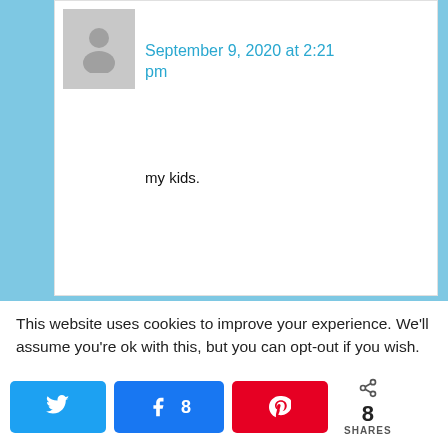[Figure (photo): Avatar placeholder image (person silhouette) for first commenter]
September 9, 2020 at 2:21 pm
my kids.
[Figure (photo): Avatar placeholder image for Tony Platz]
Tony Platz says
This website uses cookies to improve your experience. We'll assume you're ok with this, but you can opt-out if you wish.
8 SHARES